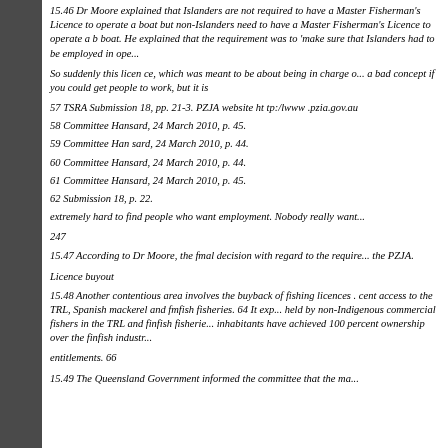15.46 Dr Moore explained that Islanders are not required to have a Master Fisherman's Licence to operate a boat but non-Islanders need to have a Master Fisherman's Licence to operate a boat. He explained that the requirement was to 'make sure that Islanders had to be employed in operating the boats.'
So suddenly this licence, which was meant to be about being in charge of a vessel, became also about employment. Not a bad concept if you could get people to work, but it is
57 TSRA Submission 18, pp. 21-3. PZJA website ht tp:/lwww .pzia.gov.au
58 Committee Hansard, 24 March 2010, p. 45.
59 Committee Han sard, 24 March 2010, p. 44.
60 Committee Hansard, 24 March 2010, p. 44.
61 Committee Hansard, 24 March 2010, p. 45.
62 Submission 18, p. 22.
extremely hard to find people who want employment. Nobody really want
247
15.47 According to Dr Moore, the fmal decision with regard to the requirement for a Master Fishermen's Licence rests with the PZJA.
Licence buyout
15.48 Another contentious area involves the buyback of fishing licences and entitlements, particularly 100 per cent access to the TRL, Spanish mackerel and fmfish fisheries. 64 It explains that fishing licences held by non-Indigenous commercial fishers in the TRL and finfish fisheries were bought back and island inhabitants have achieved 100 percent ownership over the finfish industry
entitlements. 66
15.49 The Queensland Government informed the committee that the ma